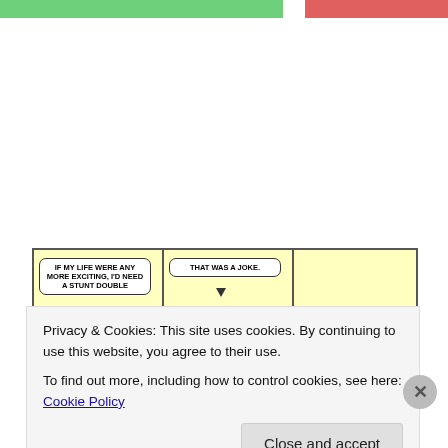[Figure (illustration): Top colored strips: green on left, pink/red on right]
[Figure (illustration): Three-panel comic strip featuring a character sitting at a table with a mug. Panel 1 speech bubble: 'IF MY LIFE WERE ANY MORE EXCITING, I'D NEED A STUNT DOUBLE'. Panel 2 speech bubble: 'THAT WAS A JOKE.' Panel 3: character sits silently. Photobucket watermark overlay visible.]
Personally, I vote that talking to nobody at all is more
Privacy & Cookies: This site uses cookies. By continuing to use this website, you agree to their use.
To find out more, including how to control cookies, see here: Cookie Policy
Close and accept